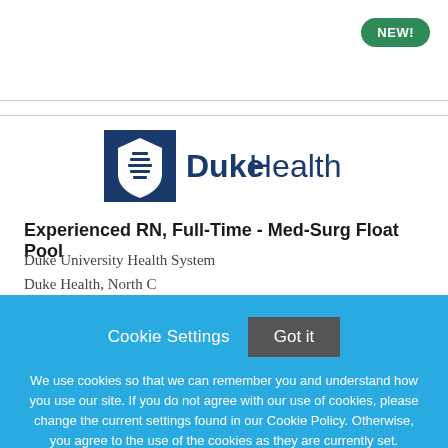[Figure (logo): DukeHealth logo with blue shield icon and DukeHealth text]
Experienced RN, Full-Time - Med-Surg Float Pool
Duke University Health System
Duke Health, North Carolina (partially visible)
Cookie Settings  Got it

We use cookies so that we can remember you and understand how you use our site. If you do not agree with our use of cookies, please change the current settings found in our Cookie Policy. Otherwise, you agree to the use of the cookies as they are currently set.